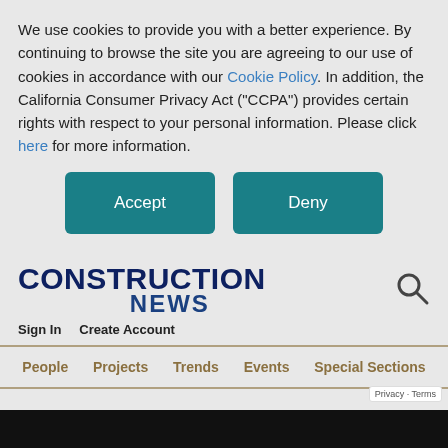We use cookies to provide you with a better experience. By continuing to browse the site you are agreeing to our use of cookies in accordance with our Cookie Policy. In addition, the California Consumer Privacy Act ("CCPA") provides certain rights with respect to your personal information. Please click here for more information.
Accept
Deny
CONSTRUCTION NEWS
Sign In   Create Account
People   Projects   Trends   Events   Special Sections
Privacy - Terms